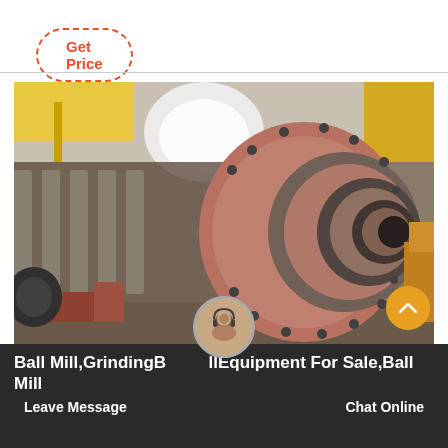Get Price
[Figure (photo): Industrial ball mill grinding equipment photographed in a manufacturing facility. The large cylindrical drum is shown horizontally with visible bolted flanges and a pink/rust-colored painted surface. Yellow overhead crane structure visible in background.]
Ball Mill,GrindingBallEquipment For Sale,Ball Mill
Leave Message
Chat Online